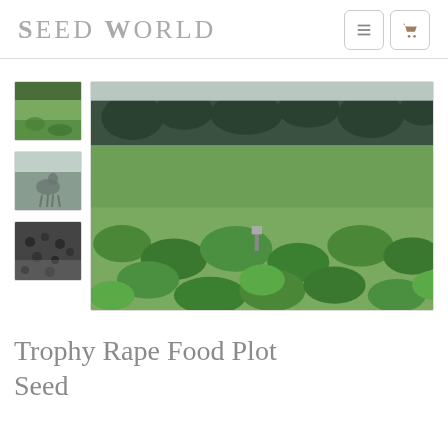SEED WORLD
[Figure (photo): Main product image: a large field densely covered with green rape/brassica plants, with a forest treeline in the background. A small marker is visible in the middle of the field.]
[Figure (photo): Thumbnail 1: aerial or close-up view of green food plot plants]
[Figure (photo): Thumbnail 2: wildlife (deer) in a food plot]
[Figure (photo): Thumbnail 3: dark seeds close-up]
Trophy Rape Food Plot Seed